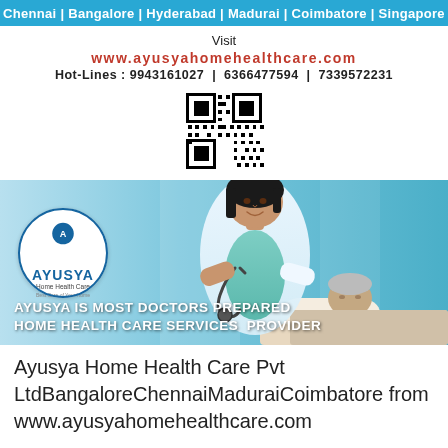Chennai | Bangalore | Hyderabad | Madurai | Coimbatore | Singapore
Visit
www.ayusyahomehealthcare.com
Hot-Lines : 9943161027 | 6366477594 | 7339572231
[Figure (other): QR code for Ayusya Home Health Care website]
[Figure (photo): Photo of smiling female nurse/doctor with stethoscope attending to elderly patient, with Ayusya logo circle overlay and text: AYUSYA IS MOST DOCTORS PREPARED HOME HEALTH CARE SERVICES PROVIDER]
Ayusya Home Health Care Pvt LtdBangaloreChennaiMaduraiCoimbatore from www.ayusyahomehealthcare.com